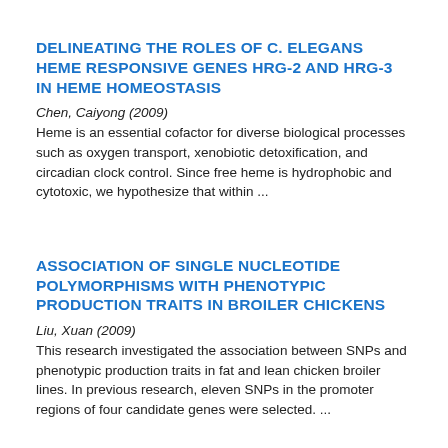DELINEATING THE ROLES OF C. ELEGANS HEME RESPONSIVE GENES HRG-2 AND HRG-3 IN HEME HOMEOSTASIS
Chen, Caiyong (2009)
Heme is an essential cofactor for diverse biological processes such as oxygen transport, xenobiotic detoxification, and circadian clock control. Since free heme is hydrophobic and cytotoxic, we hypothesize that within ...
ASSOCIATION OF SINGLE NUCLEOTIDE POLYMORPHISMS WITH PHENOTYPIC PRODUCTION TRAITS IN BROILER CHICKENS
Liu, Xuan (2009)
This research investigated the association between SNPs and phenotypic production traits in fat and lean chicken broiler lines. In previous research, eleven SNPs in the promoter regions of four candidate genes were selected. ...